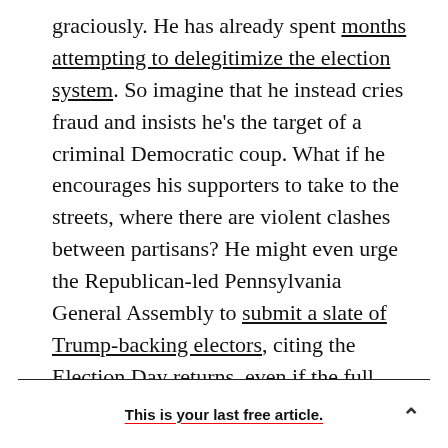graciously. He has already spent months attempting to delegitimize the election system. So imagine that he instead cries fraud and insists he's the target of a criminal Democratic coup. What if he encourages his supporters to take to the streets, where there are violent clashes between partisans? He might even urge the Republican-led Pennsylvania General Assembly to submit a slate of Trump-backing electors, citing the Election Day returns, even if the full tally clearly shows Keystone State voters chose Biden.
This is your last free article.